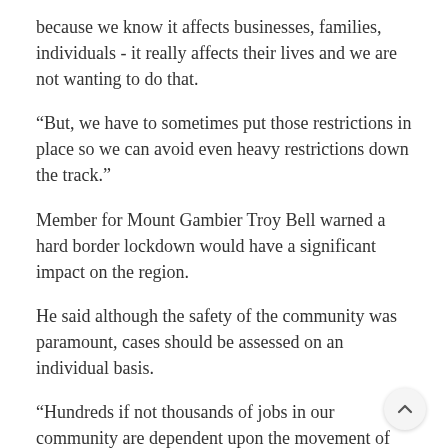because we know it affects businesses, families, individuals - it really affects their lives and we are not wanting to do that.
“But, we have to sometimes put those restrictions in place so we can avoid even heavy restrictions down the track.”
Member for Mount Gambier Troy Bell warned a hard border lockdown would have a significant impact on the region.
He said although the safety of the community was paramount, cases should be assessed on an individual basis.
“Hundreds if not thousands of jobs in our community are dependent upon the movement of freight into and out of our region,” he said.
Mr Bell also raised concerns about management and planning for the upcoming fire season and said it was